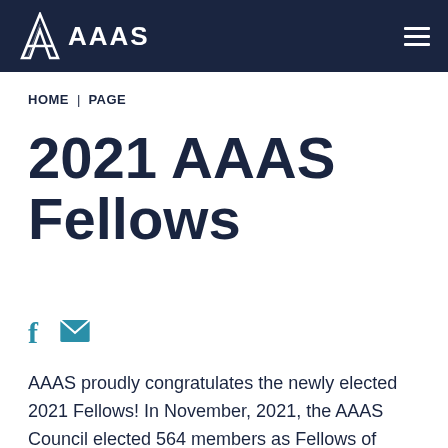AAAS
HOME | PAGE
2021 AAAS Fellows
[Figure (other): Social sharing icons: Facebook (f) and email (envelope)]
AAAS proudly congratulates the newly elected 2021 Fellows! In November, 2021, the AAAS Council elected 564 members as Fellows of AAAS. Election as a Fellow honors members whose efforts on behalf of the